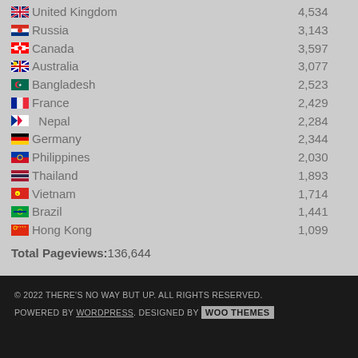United Kingdom 4,534
Russia 3,143
Canada 3,597
Australia 3,077
Bangladesh 2,523
France 2,429
Nepal 2,284
Germany 2,344
Philippines 2,030
Thailand 1,893
Vietnam 1,714
Brazil 1,441
Hong Kong 1,099
Total Pageviews: 136,644
© 2022 THERE'S NO WAY BUT UP. ALL RIGHTS RESERVED. POWERED BY WORDPRESS. DESIGNED BY WOO THEMES